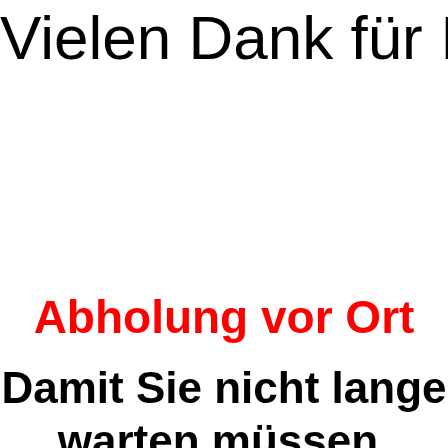Vielen Dank für Ihr V
Abholung vor Ort
Damit Sie nicht lange warten müssen, nehmen wir